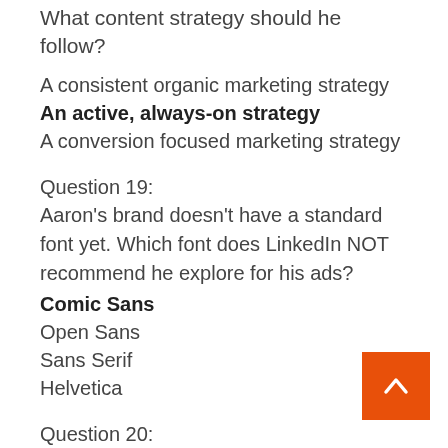What content strategy should he follow?
A consistent organic marketing strategy
An active, always-on strategy
A conversion focused marketing strategy
Question 19:
Aaron's brand doesn't have a standard font yet. Which font does LinkedIn NOT recommend he explore for his ads?
Comic Sans
Open Sans
Sans Serif
Helvetica
Question 20:
To drive engagement on a LinkedIn Page, use video because it is more likely to start a conversation than